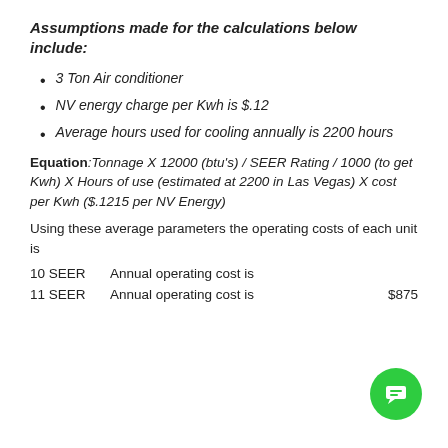Assumptions made for the calculations below include:
3 Ton Air conditioner
NV energy charge per Kwh is $.12
Average hours used for cooling annually is 2200 hours
Equation: Tonnage X 12000 (btu's) / SEER Rating / 1000 (to get Kwh) X Hours of use (estimated at 2200 in Las Vegas) X cost per Kwh ($.1215 per NV Energy)
Using these average parameters the operating costs of each unit is
10 SEER   Annual operating cost is
11 SEER   Annual operating cost is   $875